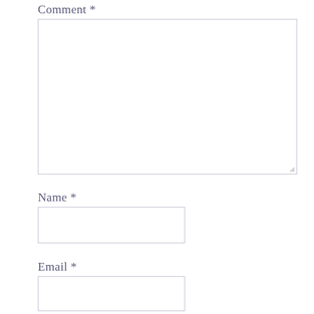Comment *
[Figure (screenshot): Empty comment textarea input field with resize handle in bottom-right corner]
Name *
[Figure (screenshot): Empty name text input field]
Email *
[Figure (screenshot): Empty email text input field (partially visible)]